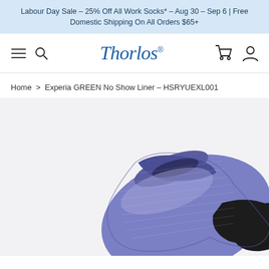Labour Day Sale – 25% Off All Work Socks* – Aug 30 – Sep 6 | Free Domestic Shipping On All Orders $65+
[Figure (logo): Thorlos brand logo with hamburger menu, search icon, shopping cart, and user account icons in navigation bar]
Home > Experia GREEN No Show Liner - HSRYUEXL001
[Figure (photo): Close-up product photo of a purple/blue Thorlos Experia GREEN No Show Liner sock on a light grey background, showing the top and toe of the sock with black toe section]